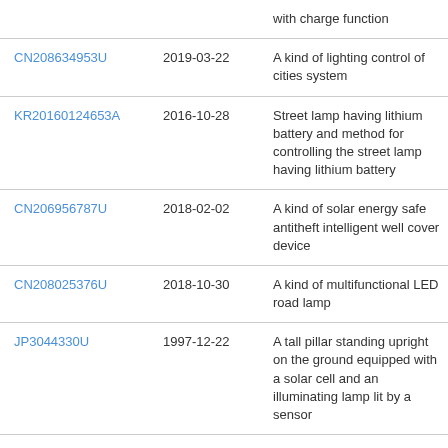| Patent ID | Date | Description |
| --- | --- | --- |
|  |  | with charge function |
| CN208634953U | 2019-03-22 | A kind of lighting control of cities system |
| KR20160124653A | 2016-10-28 | Street lamp having lithium battery and method for controlling the street lamp having lithium battery |
| CN206956787U | 2018-02-02 | A kind of solar energy safe antitheft intelligent well cover device |
| CN208025376U | 2018-10-30 | A kind of multifunctional LED road lamp |
| JP3044330U | 1997-12-22 | A tall pillar standing upright on the ground equipped with a solar cell and an illuminating lamp lit by a sensor |
| CN107036041A | 2017-08-11 | Intellectual inducing lamp |